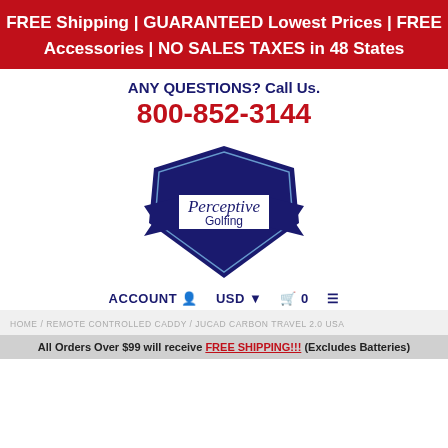FREE Shipping | GUARANTEED Lowest Prices | FREE Accessories | NO SALES TAXES in 48 States
ANY QUESTIONS? Call Us.
800-852-3144
[Figure (logo): Perceptive Golfing shield logo in navy blue with ribbon banner]
ACCOUNT  USD  0
HOME / REMOTE CONTROLLED CADDY / JUCAD CARBON TRAVEL 2.0 USA
All Orders Over $99 will receive FREE SHIPPING!!! (Excludes Batteries)